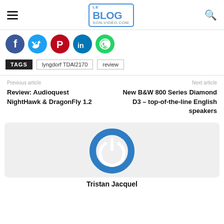Le Blog Son-Vidéo.com
[Figure (infographic): Social sharing buttons: Facebook (blue), Twitter (light blue), Pinterest (red), LinkedIn (teal), WhatsApp (green)]
TAGS: lyngdorf TDAI2170 | review
Previous article — Review: Audioquest NightHawk & DragonFly 1.2
Next article — New B&W 800 Series Diamond D3 – top-of-the-line English speakers
[Figure (logo): Author avatar: blue circular power button logo icon]
Tristan Jacquel